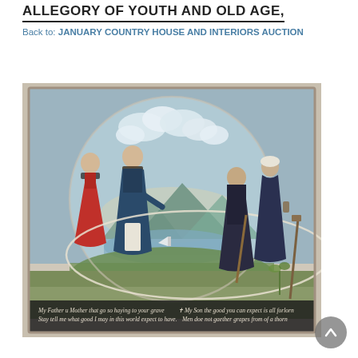ALLEGORY OF YOUTH AND OLD AGE,
Back to: JANUARY COUNTRY HOUSE AND INTERIORS AUCTION
[Figure (photo): An antique allegorical painting on board depicting a young couple on the left (woman in red dress, man in blue coat) and two elderly figures on the right, connected by a large circular hoop/rope set against a landscape background with a lake, mountains, and clouds. Text at the bottom reads: 'My Father u Mother that go so haying to your grave / Stay tell me what good I may in this world expect to have. / My Son the good you can expect is all forlorn / Men doe not gaether grapes from of a thorn']